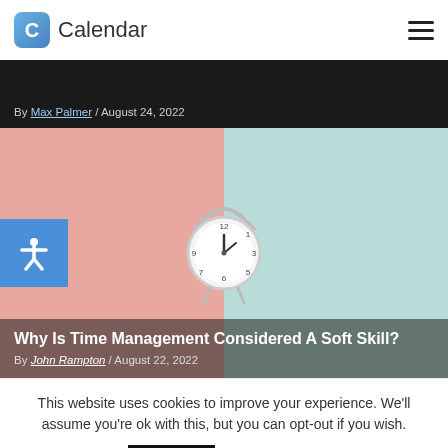Calendar — navigation header with logo and hamburger menu
By Max Palmer / August 24, 2022
[Figure (photo): Article featured image: a white alarm clock centered on a split pink and teal background, with an accessibility button overlay on the left side]
Why Is Time Management Considered A Soft Skill?
By John Rampton / August 22, 2022
This website uses cookies to improve your experience. We'll assume you're ok with this, but you can opt-out if you wish.
Accept  Read More